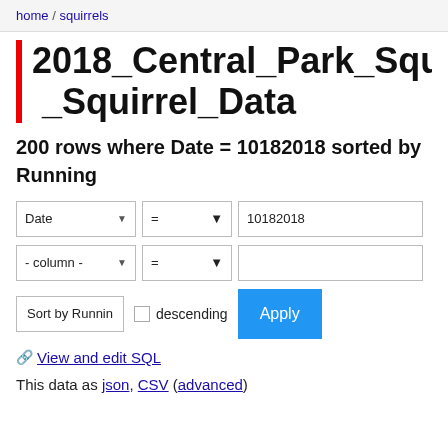home / squirrels
2018_Central_Park_Squirre_Squirrel_Data
200 rows where Date = 10182018 sorted by Running
Filter controls: Date = 10182018; - column - = (empty)
Sort by Running | descending checkbox | Apply button
🔗 View and edit SQL
This data as json, CSV (advanced)